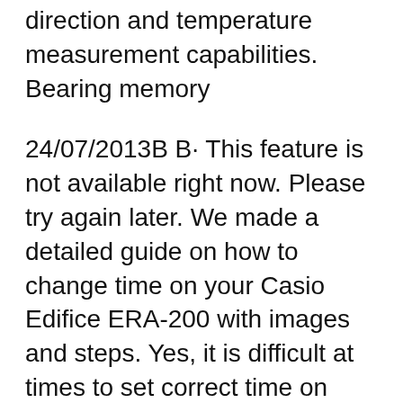direction and temperature measurement capabilities. Bearing memory
24/07/2013В В· This feature is not available right now. Please try again later. We made a detailed guide on how to change time on your Casio Edifice ERA-200 with images and steps. Yes, it is difficult at times to set correct time on ERA-200, but our instruction will help you.
Casio's EQS800CPB-1AV is from the family of Edifice. The new EQS800 solar chronograph has enhanced charging technology that can store plenty of energy to drive the вЂ¦ Watch Manual